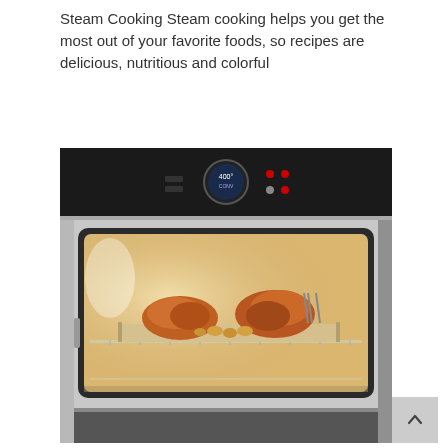Steam Cooking Steam cooking helps you get the most out of your favorite foods, so recipes are delicious, nutritious and colorful
Watch Video
[Figure (photo): A steam oven with open door showing roasted chicken pieces on a tray inside the illuminated oven cavity. The oven has a black control panel at the top with a circular digital display showing 400°F.]